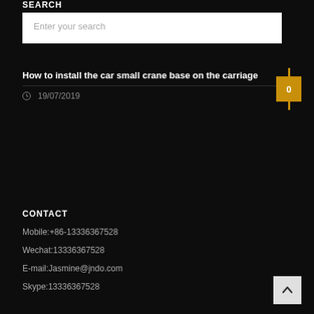SEARCH
Enter your search
How to install the car small crane base on the carriage
19/07/2019
CONTACT
Mobile:+86-13336367528
Wechat:13336367528
E-mail:Jasmine@jndo.com
Skype:13336367528